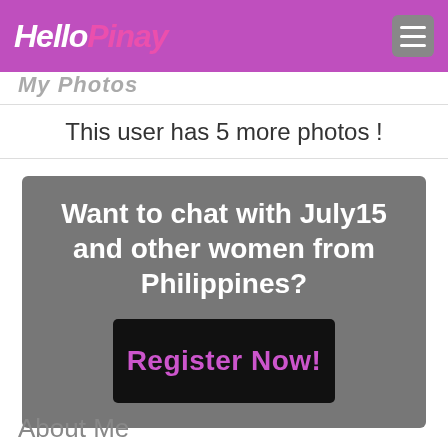HelloPinay
My Photos
This user has 5 more photos !
[Figure (infographic): Gray promotional box with white bold text 'Want to chat with July15 and other women from Philippines?' and a black button with pink text 'Register Now!']
About Me